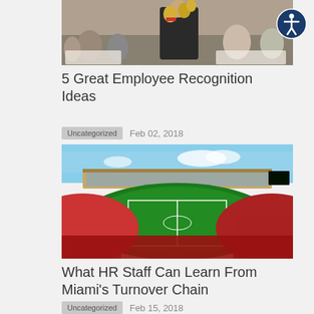[Figure (photo): Person holding trophy/award at an awards ceremony with audience in background]
5 Great Employee Recognition Ideas
Uncategorized   Feb 02, 2018
[Figure (photo): Aerial view of a football stadium filled with fans during a game]
What HR Staff Can Learn From Miami's Turnover Chain
Uncategorized   Feb 15, 2018